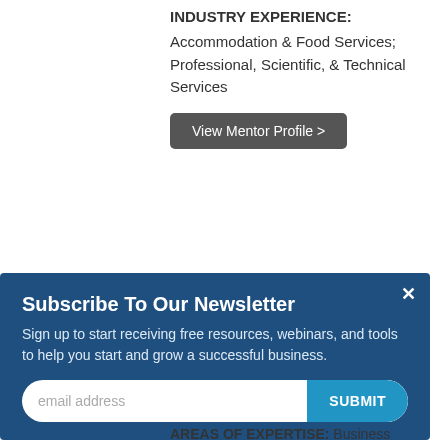INDUSTRY EXPERIENCE:
Accommodation & Food Services; Professional, Scientific, & Technical Services
View Mentor Profile >
Ryan Turner
[Figure (photo): Photo of Ryan Turner, partially visible, showing top of head with brown hair]
Subscribe To Our Newsletter
Sign up to start receiving free resources, webinars, and tools to help you start and grow a successful business.
email address  SUBMIT
AREAS OF EXPERTISE: Business